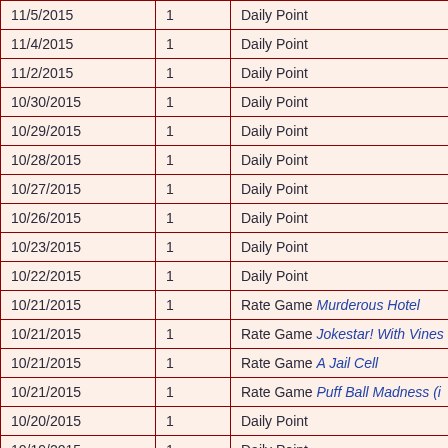| Date | Points | Description |
| --- | --- | --- |
| 11/5/2015 | 1 | Daily Point |
| 11/4/2015 | 1 | Daily Point |
| 11/2/2015 | 1 | Daily Point |
| 10/30/2015 | 1 | Daily Point |
| 10/29/2015 | 1 | Daily Point |
| 10/28/2015 | 1 | Daily Point |
| 10/27/2015 | 1 | Daily Point |
| 10/26/2015 | 1 | Daily Point |
| 10/23/2015 | 1 | Daily Point |
| 10/22/2015 | 1 | Daily Point |
| 10/21/2015 | 1 | Rate Game Murderous Hotel |
| 10/21/2015 | 1 | Rate Game Jokestar! With Vines |
| 10/21/2015 | 1 | Rate Game A Jail Cell |
| 10/21/2015 | 1 | Rate Game Puff Ball Madness (i |
| 10/20/2015 | 1 | Daily Point |
| 10/19/2015 | 1 | Daily Point |
| 10/2/2015 | 1 | Rate Game Awesomeland - The |
| 10/2/2015 | 1 | Rate Game Are You Chicken? |